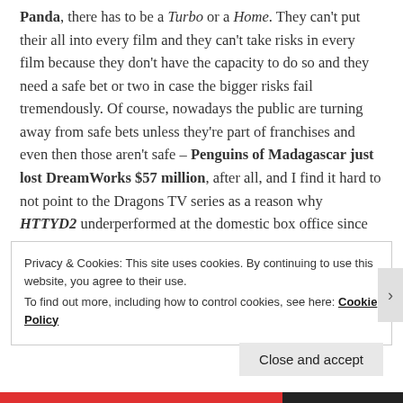Panda, there has to be a Turbo or a Home. They can't put their all into every film and they can't take risks in every film because they don't have the capacity to do so and they need a safe bet or two in case the bigger risks fail tremendously. Of course, nowadays the public are turning away from safe bets unless they're part of franchises and even then those aren't safe – Penguins of Madagascar just lost DreamWorks $57 million, after all, and I find it hard to not point to the Dragons TV series as a reason why HTTYD2 underperformed at the domestic box office since that show tries so hard to be a TV version of the movie it's based on.
Privacy & Cookies: This site uses cookies. By continuing to use this website, you agree to their use. To find out more, including how to control cookies, see here: Cookie Policy